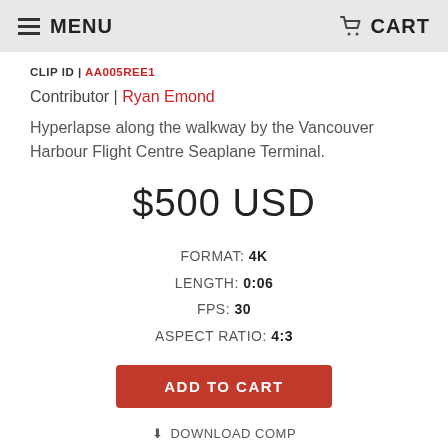MENU  CART
CLIP ID | AA005REE1
Contributor | Ryan Emond
Hyperlapse along the walkway by the Vancouver Harbour Flight Centre Seaplane Terminal.
$500 USD
FORMAT: 4K
LENGTH: 0:06
FPS: 30
ASPECT RATIO: 4:3
ADD TO CART
↓ DOWNLOAD COMP